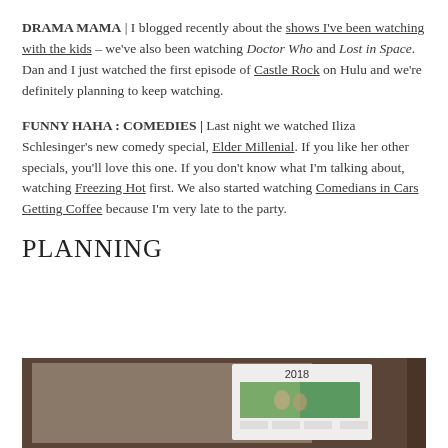DRAMA MAMA | I blogged recently about the shows I've been watching with the kids – we've also been watching Doctor Who and Lost in Space. Dan and I just watched the first episode of Castle Rock on Hulu and we're definitely planning to keep watching.
FUNNY HAHA : COMEDIES | Last night we watched Iliza Schlesinger's new comedy special, Elder Millenial. If you like her other specials, you'll love this one. If you don't know what I'm talking about, watching Freezing Hot first. We also started watching Comedians in Cars Getting Coffee because I'm very late to the party.
PLANNING
[Figure (photo): Partial photo of a 2018 calendar page showing a family photo with a dark wood frame border visible on the right side.]